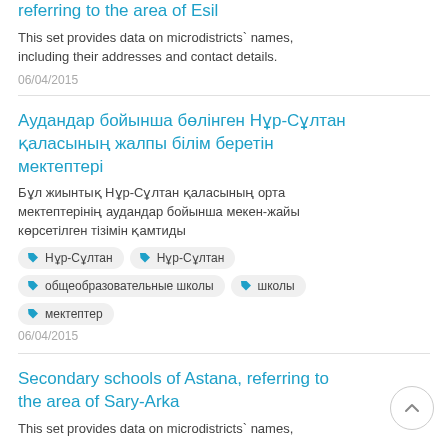referring to the area of Esil
This set provides data on microdistricts` names, including their addresses and contact details.
06/04/2015
Аудандар бойынша бөлінген Нұр-Сұлтан қаласының жалпы білім беретін мектептері
Бұл жиынтық Нұр-Сұлтан қаласының орта мектептерінің аудандар бойынша мекен-жайы көрсетілген тізімін қамтиды
Нұр-Сұлтан
Нұр-Сұлтан
общеобразовательные школы
школы
мектептер
06/04/2015
Secondary schools of Astana, referring to the area of Sary-Arka
This set provides data on microdistricts` names,